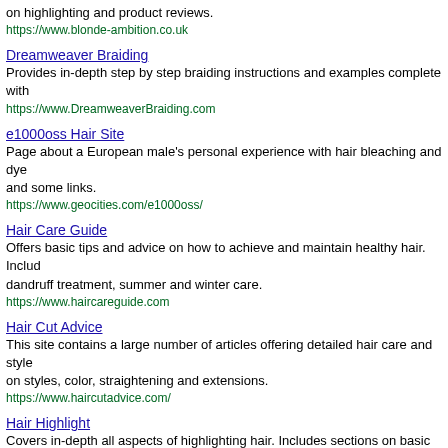on highlighting and product reviews.
https://www.blonde-ambition.co.uk
Dreamweaver Braiding - Provides in-depth step by step braiding instructions and examples complete with - https://www.DreamweaverBraiding.com
e1000oss Hair Site - Page about a European male's personal experience with hair bleaching and dye and some links. - https://www.geocities.com/e1000oss/
Hair Care Guide - Offers basic tips and advice on how to achieve and maintain healthy hair. Includes dandruff treatment, summer and winter care. - https://www.haircareguide.com
Hair Cut Advice - This site contains a large number of articles offering detailed hair care and style on styles, color, straightening and extensions. - https://www.haircutadvice.com/
Hair Highlight - Covers in-depth all aspects of highlighting hair. Includes sections on basic defini step by step instructions and suggestions. - https://www.hair-highlight.com/
Hair News Magazine - Beauty and hair e-zine and reference site for consumers and professionals. Inclu common hair problems and a catalog of hair styles. - https://www.hair-news.com/
Hair Styles - Simple instructions on ways to wear long hair, including braids, ponytails, buns a - https://www.geocities.com/flominggo/
Haircare Information - Provides information basics such as finding the right shampoo and condition